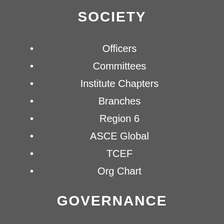SOCIETY
Officers
Committees
Institute Chapters
Branches
Region 6
ASCE Global
TCEF
Org Chart
GOVERNANCE